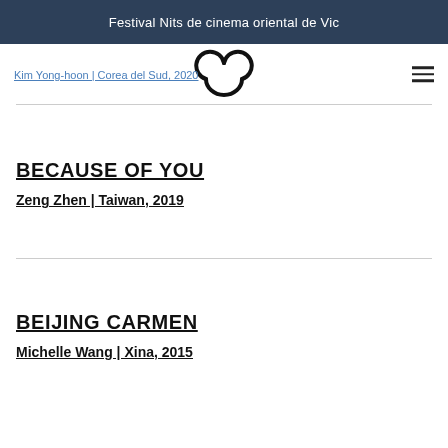Festival Nits de cinema oriental de Vic
Kim Yong-hoon | Corea del Sud, 2020
[Figure (logo): Stylized panda face logo with two circular ears drawn in outline, forming a face shape]
BECAUSE OF YOU
Zeng Zhen | Taiwan, 2019
BEIJING CARMEN
Michelle Wang | Xina, 2015